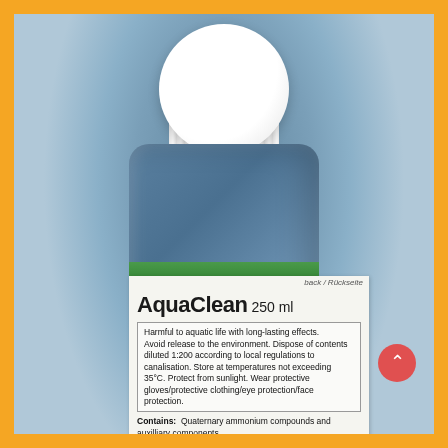[Figure (photo): A blue plastic bottle of AquaClean 250ml cleaning product with a white ribbed cap, shown from the back. The bottle has a green stripe at the top of the label area and a white label with product information.]
back / Rückseite
AquaClean 250 ml
Harmful to aquatic life with long-lasting effects. Avoid release to the environment. Dispose of contents diluted 1:200 according to local regulations to canalisation. Store at temperatures not exceeding 35°C. Protect from sunlight. Wear protective gloves/protective clothing/eye protection/face protection.
Contains: Quaternary ammonium compounds and auxilliary components
Storage: Room temperature
Materials compatibility: Stainless steel & glass